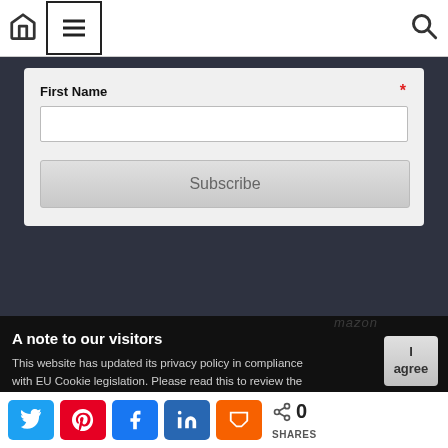[Figure (screenshot): Website navigation bar with home icon, hamburger menu box, and search icon]
First Name *
[Figure (screenshot): Text input field for First Name]
[Figure (screenshot): Subscribe button]
A note to our visitors
This website has updated its privacy policy in compliance with EU Cookie legislation. Please read this to review the updates about which cookies we use and what information
[Figure (screenshot): I agree button for cookie consent]
Social share bar: Twitter, Pinterest, Facebook, LinkedIn, Mix — 0 SHARES